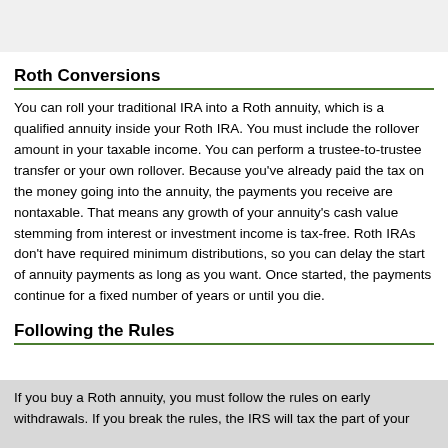Roth Conversions
You can roll your traditional IRA into a Roth annuity, which is a qualified annuity inside your Roth IRA. You must include the rollover amount in your taxable income. You can perform a trustee-to-trustee transfer or your own rollover. Because you've already paid the tax on the money going into the annuity, the payments you receive are nontaxable. That means any growth of your annuity's cash value stemming from interest or investment income is tax-free. Roth IRAs don't have required minimum distributions, so you can delay the start of annuity payments as long as you want. Once started, the payments continue for a fixed number of years or until you die.
Following the Rules
If you buy a Roth annuity, you must follow the rules on early withdrawals. If you break the rules, the IRS will tax the part of your